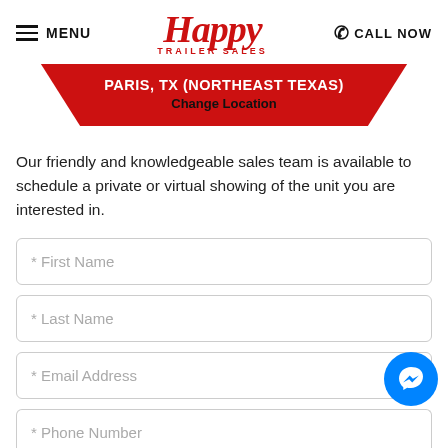[Figure (logo): Happy Trailer Sales logo with red stylized text and subtitle]
PARIS, TX (NORTHEAST TEXAS)
Change Location
Our friendly and knowledgeable sales team is available to schedule a private or virtual showing of the unit you are interested in.
* First Name
* Last Name
* Email Address
* Phone Number